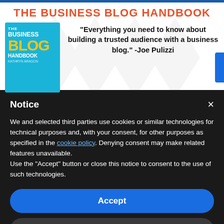[Figure (illustration): Book cover advertisement for 'The Business Blog Handbook' with orange-red title text and a quote from Joe Pulizzi]
THE BUSINESS BLOG HANDBOOK
"Everything you need to know about building a trusted audience with a business blog." -Joe Pulizzi
Notice
We and selected third parties use cookies or similar technologies for technical purposes and, with your consent, for other purposes as specified in the cookie policy. Denying consent may make related features unavailable.
Use the "Accept" button or close this notice to consent to the use of such technologies.
Accept
Learn more and customize